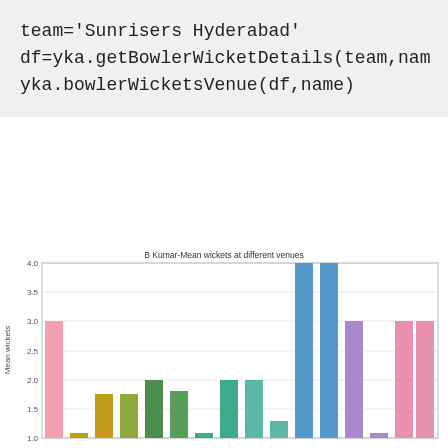team='Sunrisers Hyderabad'
df=yka.getBowlerWicketDetails(team,name)
yka.bowlerWicketsVenue(df,name)
[Figure (bar-chart): B Kumar-Mean wickets at different venues]